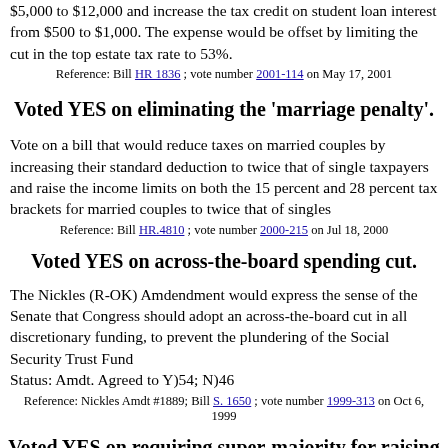$5,000 to $12,000 and increase the tax credit on student loan interest from $500 to $1,000. The expense would be offset by limiting the cut in the top estate tax rate to 53%.
Reference: Bill HR 1836 ; vote number 2001-114 on May 17, 2001
Voted YES on eliminating the 'marriage penalty'.
Vote on a bill that would reduce taxes on married couples by increasing their standard deduction to twice that of single taxpayers and raise the income limits on both the 15 percent and 28 percent tax brackets for married couples to twice that of singles
Reference: Bill HR.4810 ; vote number 2000-215 on Jul 18, 2000
Voted YES on across-the-board spending cut.
The Nickles (R-OK) Amdendment would express the sense of the Senate that Congress should adopt an across-the-board cut in all discretionary funding, to prevent the plundering of the Social Security Trust Fund
Status: Amdt. Agreed to Y)54; N)46
Reference: Nickles Amdt #1889; Bill S. 1650 ; vote number 1999-313 on Oct 6, 1999
Voted YES on requiring super-majority for raising taxes.
Senator Kyl (R-AZ) offered an amendment to the 1999 budget